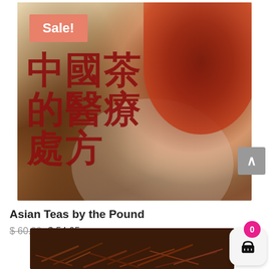[Figure (photo): Photo of Chinese herbal tea ingredients - dried roots, berries on a white saucer with a cup of red/brown tea, overlaid on a book with Chinese characters reading 中國茶的醫療處方 (Chinese Tea Medical Prescription). Sale badge in top left corner.]
Asian Teas by the Pound
$ 60.00 $ 54.95
[Figure (photo): Partial view of loose dried tea leaves/herbs, dark reddish-brown color, at the bottom of the page]